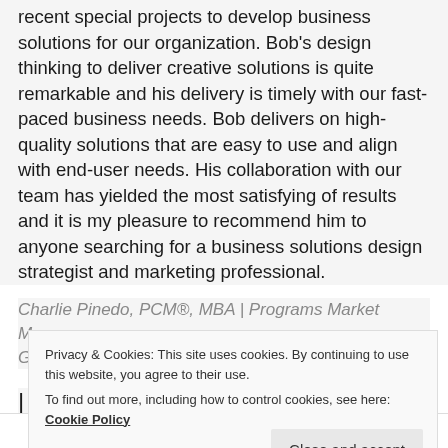recent special projects to develop business solutions for our organization. Bob's design thinking to deliver creative solutions is quite remarkable and his delivery is timely with our fast-paced business needs. Bob delivers on high-quality solutions that are easy to use and align with end-user needs. His collaboration with our team has yielded the most satisfying of results and it is my pleasure to recommend him to anyone searching for a business solutions design strategist and marketing professional.
Charlie Pinedo, PCM®, MBA | Programs Market Manager, Global | ROI Partners
Privacy & Cookies: This site uses cookies. By continuing to use this website, you agree to their use. To find out more, including how to control cookies, see here: Cookie Policy
Close and accept